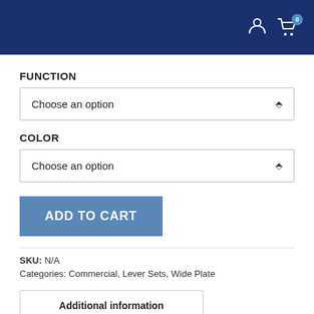FUNCTION
Choose an option
COLOR
Choose an option
ADD TO CART
SKU: N/A
Categories: Commercial, Lever Sets, Wide Plate
Additional information